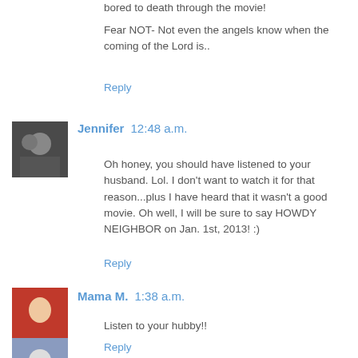bored to death through the movie!
Fear NOT- Not even the angels know when the coming of the Lord is..
Reply
Jennifer  12:48 a.m.
Oh honey, you should have listened to your husband. Lol. I don't want to watch it for that reason...plus I have heard that it wasn't a good movie. Oh well, I will be sure to say HOWDY NEIGHBOR on Jan. 1st, 2013! :)
Reply
Mama M.  1:38 a.m.
Listen to your hubby!!
Reply
[Figure (photo): Partial avatar image at bottom left, partially cut off]